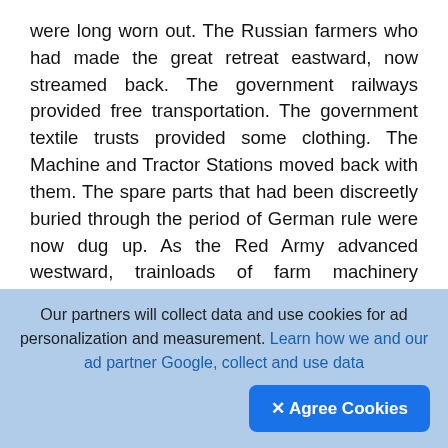were long worn out. The Russian farmers who had made the great retreat eastward, now streamed back. The government railways provided free transportation. The government textile trusts provided some clothing. The Machine and Tractor Stations moved back with them. The spare parts that had been discreetly buried through the period of German rule were now dug up. As the Red Army advanced westward, trainloads of farm machinery advanced behind the Army, gifts from the eastern farms. The Rostov region alone received from the eastern regions 4000 tractors, of which 1400 caterpillars, 400 combines and other machines in proportion. Without a roof over their heads, the arriving farmers dug themselves into the frozen
Our partners will collect data and use cookies for ad personalization and measurement. Learn how we and our ad partner Google, collect and use data
✕ Agree Cookies